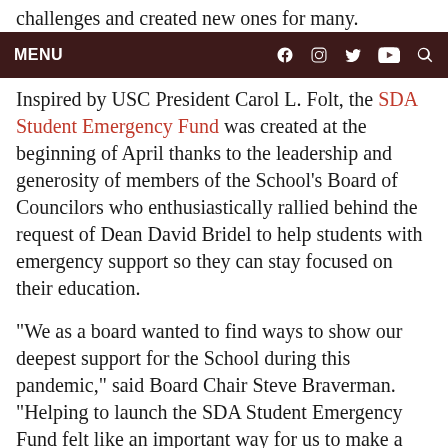challenges and created new ones for many.
MENU
Inspired by USC President Carol L. Folt, the SDA Student Emergency Fund was created at the beginning of April thanks to the leadership and generosity of members of the School’s Board of Councilors who enthusiastically rallied behind the request of Dean David Bridel to help students with emergency support so they can stay focused on their education.
“We as a board wanted to find ways to show our deepest support for the School during this pandemic,” said Board Chair Steve Braverman. “Helping to launch the SDA Student Emergency Fund felt like an important way for us to make a meaningful difference in the lives of some of